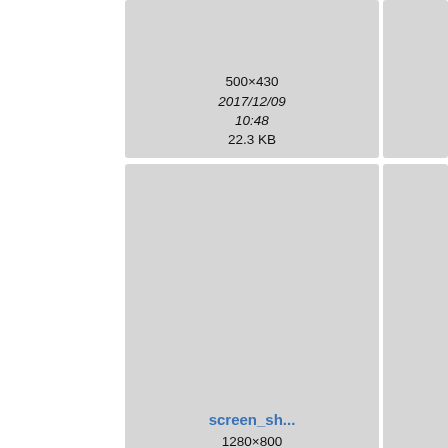[Figure (screenshot): File browser grid showing image thumbnails with metadata. Top row shows partial entries with dimensions 500×430, date 2017/12/09 10:48, size 22.3 KB and 1280×800, date 2017/12/18 17:32, size 373.3 KB. Middle row shows screen_sh... (1280×800, 2017/12/18 17:32, 1.1 MB) and taal.png (70×35, 2017/11/21 14:20, 307 B). Bottom row shows tlingit-nor... (1024×768, 2017/11/26), trondheim... with map thumbnail (623×591, 2017/12/09), and vla... (partially visible).]